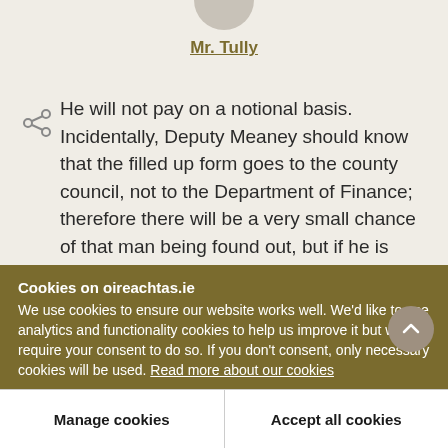[Figure (illustration): Partial avatar/profile image circle at top of page, grey-beige color, cropped at top edge]
Mr. Tully
He will not pay on a notional basis. Incidentally, Deputy Meaney should know that the filled up form goes to the county council, not to the Department of Finance; therefore there will be a very small chance of that man being found out, but if he is found out and he is getting over the tax-free allowance, I believe he should pay his tax the same
Cookies on oireachtas.ie
We use cookies to ensure our website works well. We'd like to use analytics and functionality cookies to help us improve it but we require your consent to do so. If you don't consent, only necessary cookies will be used. Read more about our cookies
Manage cookies
Accept all cookies